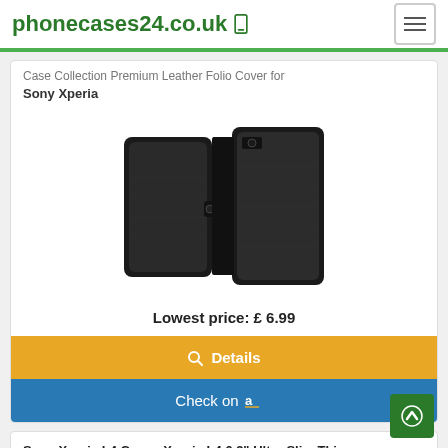phonecases24.co.uk
Case Collection Premium Leather Folio Cover for Sony Xperia
[Figure (photo): Black leather wallet phone case shown from two angles - closed front view and open back view]
Lowest price: £ 6.99
Details
Check on Amazon
Sony Xperia L4 Case - Xperia L4 6.2" Ultra Slim Thin Armour